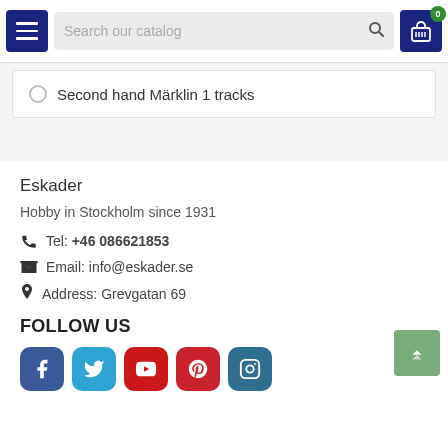Search our catalog
Second hand Märklin 1 tracks
Eskader
Hobby in Stockholm since 1931
Tel: +46 086621853
Email: info@eskader.se
Address: Grevgatan 69
FOLLOW US
[Figure (other): Social media icons: Facebook, Twitter, YouTube, Pinterest, Instagram]